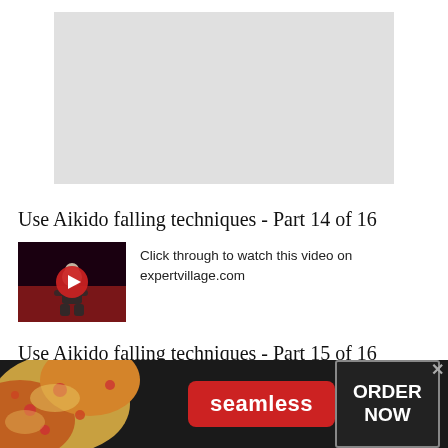[Figure (screenshot): Gray placeholder rectangle representing an embedded video player]
Use Aikido falling techniques - Part 14 of 16
[Figure (screenshot): Thumbnail of Aikido practitioner on red mat with white play button overlay circle]
Click through to watch this video on expertvillage.com
Use Aikido falling techniques - Part 15 of 16
[Figure (infographic): Seamless food delivery advertisement banner with pizza image, red Seamless logo button, and ORDER NOW button on dark background]